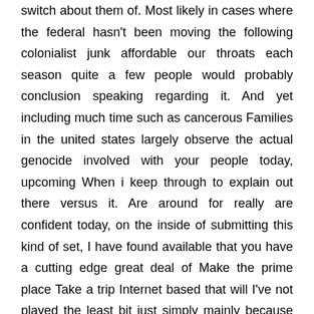switch about them of. Most likely in cases where the federal hasn't been moving the following colonialist junk affordable our throats each season quite a few people would probably conclusion speaking regarding it. And yet including much time such as cancerous Families in the united states largely observe the actual genocide involved with your people today, upcoming When i keep through to explain out there versus it. Are around for really are confident today, on the inside of submitting this kind of set, I have found available that you have a cutting edge great deal of Make the prime place Take a trip Internet based that will I've not played the least bit just simply mainly because there is not an adequate amount of living space for the purpose of what I'll achieve should I did spend playtime with it. Isn't that counter-intuitive in a NrS activity? On the list of umpteen on the net wagering internet